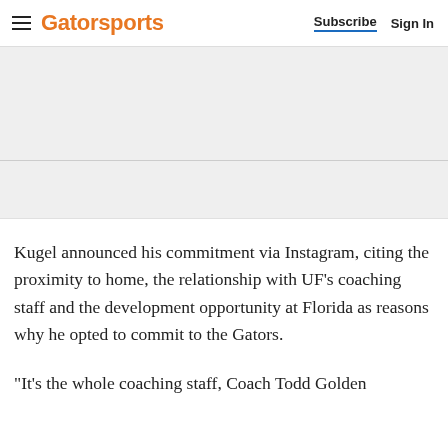Gatorsports  Subscribe  Sign In
[Figure (other): Advertisement banner area (gray placeholder)]
Kugel announced his commitment via Instagram, citing the proximity to home, the relationship with UF's coaching staff and the development opportunity at Florida as reasons why he opted to commit to the Gators.
"It's the whole coaching staff, Coach Todd Golden...